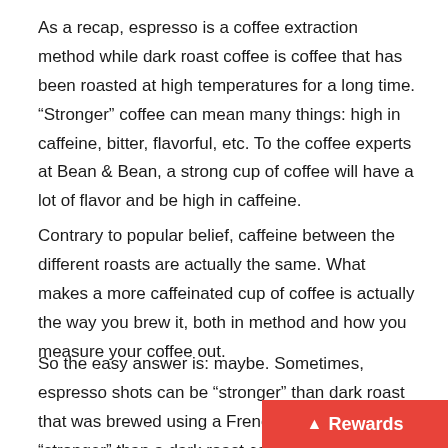As a recap, espresso is a coffee extraction method while dark roast coffee is coffee that has been roasted at high temperatures for a long time. “Stronger” coffee can mean many things: high in caffeine, bitter, flavorful, etc. To the coffee experts at Bean & Bean, a strong cup of coffee will have a lot of flavor and be high in caffeine.
Contrary to popular belief, caffeine between the different roasts are actually the same. What makes a more caffeinated cup of coffee is actually the way you brew it, both in method and how you measure your coffee out.
So the easy answer is: maybe. Sometimes, espresso shots can be “stronger” than dark roast that was brewed using a French Press, but not “stronger” than a dark roast coffee that was brewed using a drip method (Source).